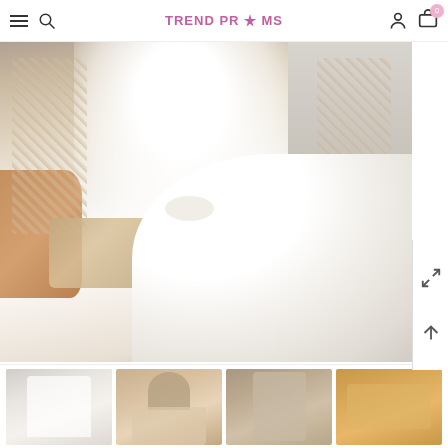TREND PROMS
[Figure (photo): Wedding dress with lace long sleeves and tulle skirt. The bodice features intricate lace detailing. A hand holds out the lace hem. White tulle ballgown skirt flows to the right.]
[Figure (photo): Thumbnail 1: Back or detail view of white wedding dress]
[Figure (photo): Thumbnail 2: Person wearing wedding dress, back view]
[Figure (photo): Thumbnail 3: Side view of wedding dress on person]
[Figure (photo): Thumbnail 4: Gold/warm toned detail of wedding dress or accessories]